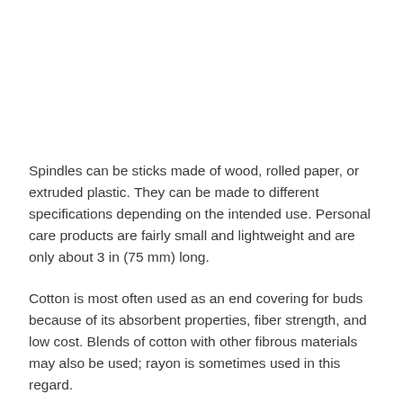Spindles can be sticks made of wood, rolled paper, or extruded plastic. They can be made to different specifications depending on the intended use. Personal care products are fairly small and lightweight and are only about 3 in (75 mm) long.
Cotton is most often used as an end covering for buds because of its absorbent properties, fiber strength, and low cost. Blends of cotton with other fibrous materials may also be used; rayon is sometimes used in this regard.
Packaging can be done with a clear plastic pet with